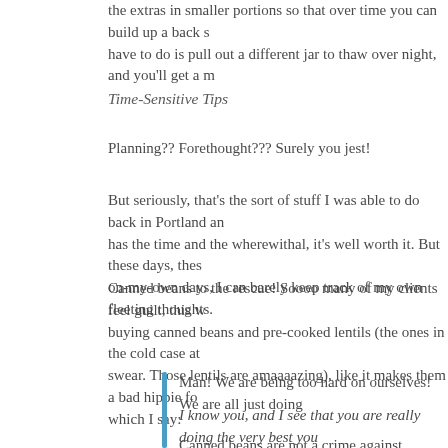the extras in smaller portions so that over time you can build up a back stock. All you have to do is pull out a different jar to thaw over night, and you'll get a m
Time-Sensitive Tips
Planning?? Forethought??? Surely you jest!
But seriously, that's the sort of stuff I was able to do back in Portland an has the time and the wherewithal, it's well worth it. But these days, thes on-my-own days, I can barely keep track of my own fleeting thoughts.
Canned beans to the rescue! Soooo many of my clients feel guilt, this w buying canned beans and pre-cooked lentils (the ones in the cold case at swear. Those lentils are amaaaazing), like it makes them a bad hippie fo which I say:
Man! We are being too hard on ourselves! We are all just doing
I know you, and I see that you are really doing the very best you
Canned beans are not a crime against humanity. Good lord, buy